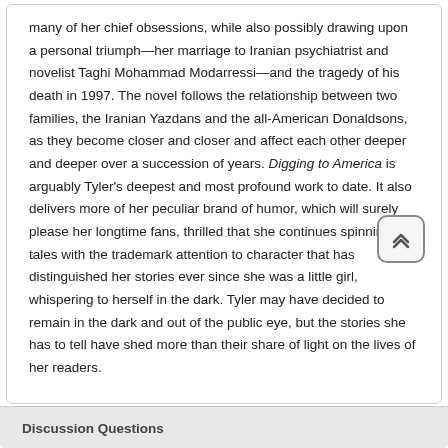many of her chief obsessions, while also possibly drawing upon a personal triumph—her marriage to Iranian psychiatrist and novelist Taghi Mohammad Modarressi—and the tragedy of his death in 1997. The novel follows the relationship between two families, the Iranian Yazdans and the all-American Donaldsons, as they become closer and closer and affect each other deeper and deeper over a succession of years. Digging to America is arguably Tyler's deepest and most profound work to date. It also delivers more of her peculiar brand of humor, which will surely please her longtime fans, thrilled that she continues spinning tales with the trademark attention to character that has distinguished her stories ever since she was a little girl, whispering to herself in the dark. Tyler may have decided to remain in the dark and out of the public eye, but the stories she has to tell have shed more than their share of light on the lives of her readers.
Discussion Questions